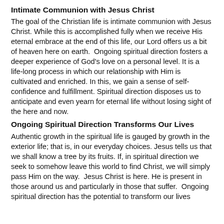Intimate Communion with Jesus Christ
The goal of the Christian life is intimate communion with Jesus Christ. While this is accomplished fully when we receive His eternal embrace at the end of this life, our Lord offers us a bit of heaven here on earth.  Ongoing spiritual direction fosters a deeper experience of God's love on a personal level. It is a life-long process in which our relationship with Him is cultivated and enriched. In this, we gain a sense of self-confidence and fulfillment. Spiritual direction disposes us to anticipate and even yearn for eternal life without losing sight of the here and now.
Ongoing Spiritual Direction Transforms Our Lives
Authentic growth in the spiritual life is gauged by growth in the exterior life; that is, in our everyday choices. Jesus tells us that we shall know a tree by its fruits. If, in spiritual direction we seek to somehow leave this world to find Christ, we will simply pass Him on the way.  Jesus Christ is here. He is present in those around us and particularly in those that suffer.  Ongoing spiritual direction has the potential to transform our lives